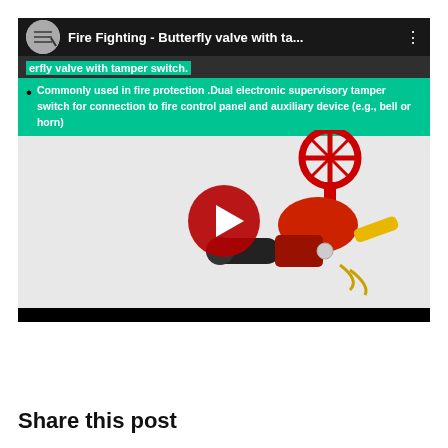[Figure (screenshot): YouTube video thumbnail screenshot showing 'Fire Fighting - Butterfly valve with ta...' video. The thumbnail shows a butterfly valve with tamper switch product image. A green highlighted bullet point reads: 'Commonly used in fire protection. Dual electronic supervisory tamper switch for connection to fire control panel and auxiliary device (e.g., bell or horn)'. A large red YouTube play button is centered over the image.]
Share this post